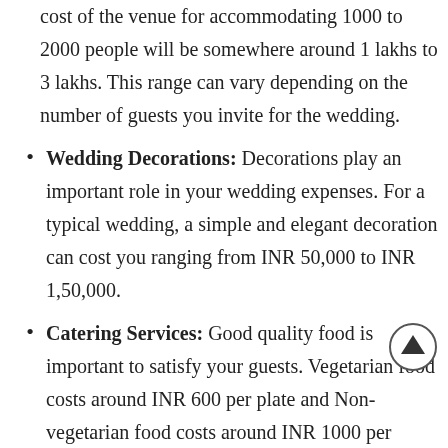cost of the venue for accommodating 1000 to 2000 people will be somewhere around 1 lakhs to 3 lakhs. This range can vary depending on the number of guests you invite for the wedding.
Wedding Decorations: Decorations play an important role in your wedding expenses. For a typical wedding, a simple and elegant decoration can cost you ranging from INR 50,000 to INR 1,50,000.
Catering Services: Good quality food is important to satisfy your guests. Vegetarian food costs around INR 600 per plate and Non-vegetarian food costs around INR 1000 per plate.
Wedding Attire: For Brides, a lehenga starts from